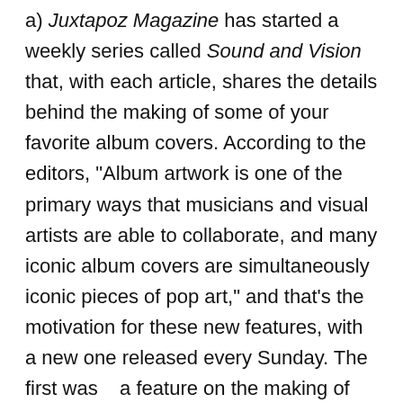a) Juxtapoz Magazine has started a weekly series called Sound and Vision that, with each article, shares the details behind the making of some of your favorite album covers. According to the editors, "Album artwork is one of the primary ways that musicians and visual artists are able to collaborate, and many iconic album covers are simultaneously iconic pieces of pop art," and that's the motivation for these new features, with a new one released every Sunday. The first was   a feature on the making of the cover for the 1998 hip hop classic Aquemini which, according to the author, "cemented OutKast, and Southern hip-hop in-general, as a force to be reckoned with. The album features a number of skits and classic tracks, centering around Big Boi and André 3000s' giant personalities and showcases their incredibly symbiotic relationship. The cover was designed to showcase that same thing."